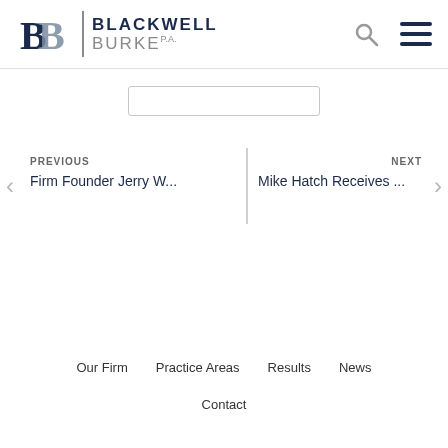[Figure (logo): Blackwell Burke P.A. logo with stylized BB monogram and firm name]
PREVIOUS
Firm Founder Jerry W...
NEXT
Mike Hatch Receives ...
Our Firm   Practice Areas   Results   News   Contact